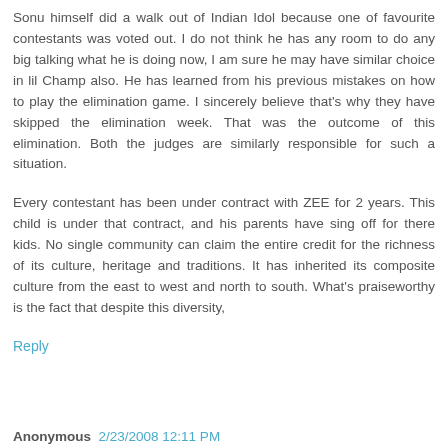Sonu himself did a walk out of Indian Idol because one of favourite contestants was voted out. I do not think he has any room to do any big talking what he is doing now, I am sure he may have similar choice in lil Champ also. He has learned from his previous mistakes on how to play the elimination game. I sincerely believe that's why they have skipped the elimination week. That was the outcome of this elimination. Both the judges are similarly responsible for such a situation.
Every contestant has been under contract with ZEE for 2 years. This child is under that contract, and his parents have sing off for there kids. No single community can claim the entire credit for the richness of its culture, heritage and traditions. It has inherited its composite culture from the east to west and north to south. What's praiseworthy is the fact that despite this diversity,
Reply
Anonymous  2/23/2008 12:11 PM